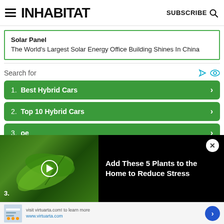INHABITAT | SUBSCRIBE
Solar Panel
The World's Largest Solar Energy Office Building Shines In China
Search for
1. Best Hybrid Cars
2. Top 10 Hybrid Cars
3. oe
[Figure (screenshot): Video overlay with plant/leaf thumbnail and title 'Add These 5 Plants to the Home to Reduce Stress' with close button]
Add These 5 Plants to the Home to Reduce Stress
Visit virtuarta.com! to learn more
www.virtuarta.com